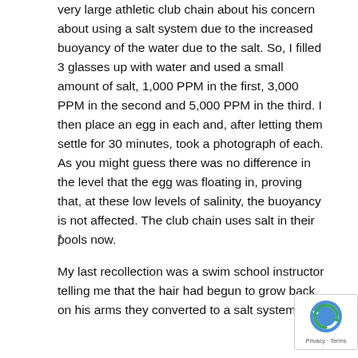very large athletic club chain about his concern about using a salt system due to the increased buoyancy of the water due to the salt. So, I filled 3 glasses up with water and used a small amount of salt, 1,000 PPM in the first, 3,000 PPM in the second and 5,000 PPM in the third. I then place an egg in each and, after letting them settle for 30 minutes, took a photograph of each. As you might guess there was no difference in the level that the egg was floating in, proving that, at these low levels of salinity, the buoyancy is not affected. The club chain uses salt in their pools now.
*
My last recollection was a swim school instructor telling me that the hair had begun to grow back on his arms they converted to a salt system.